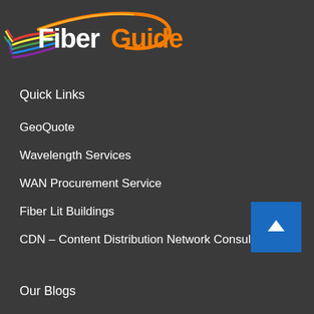[Figure (logo): FiberGuide logo with colorful fiber optic strands and orange curved line, white text 'Fiber' and orange text 'Guide']
Quick Links
GeoQuote
Wavelength Services
WAN Procurement Service
Fiber Lit Buildings
CDN – Content Distribution Network Consulting
[Figure (other): Blue scroll-to-top button with white upward arrow]
Our Blogs